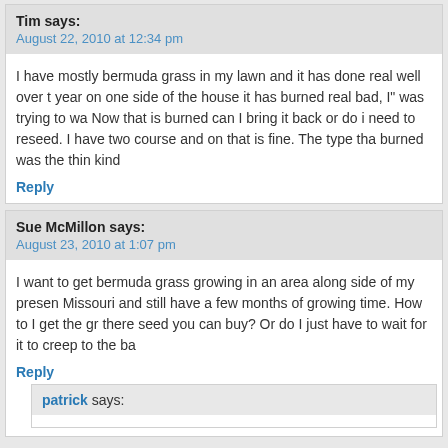Tim says:
August 22, 2010 at 12:34 pm
I have mostly bermuda grass in my lawn and it has done real well over t... year on one side of the house it has burned real bad, I" was trying to wa... Now that is burned can I bring it back or do i need to reseed. I have two course and on that is fine. The type tha burned was the thin kind
Reply
Sue McMillon says:
August 23, 2010 at 1:07 pm
I want to get bermuda grass growing in an area along side of my presen... Missouri and still have a few months of growing time. How to I get the gr... there seed you can buy? Or do I just have to wait for it to creep to the ba...
Reply
patrick says: